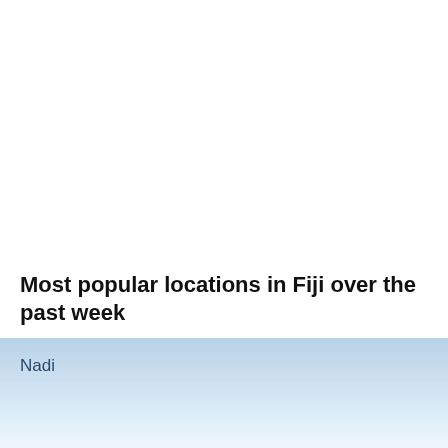Most popular locations in Fiji over the past week
Nadi